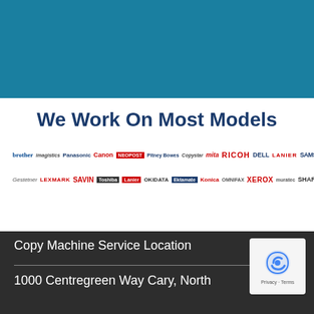[Figure (other): Blue banner header background]
We Work On Most Models
[Figure (infographic): Row of printer/copier brand logos including Brother, imagistics, Panasonic, Canon, Neopost, Pitney Bowes, Copystar, mita, RICOH, DELL, LANIER, SAMSUNG, hp (row 1); Gestetner, LEXMARK, SAVIN, Toshiba, Lanier, OKIDATA, Ektamate, Konica, OMNIFAX, XEROX, muratec, SHARP, NEC (row 2)]
Copy Machine Service Location
1000 Centregreen Way Cary, North